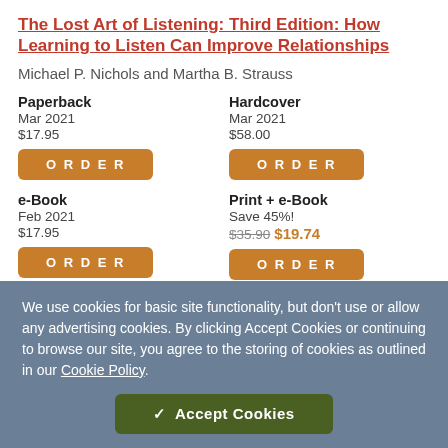The Lost Art of Listening: Third Edition: How Learning to Listen Can Improve Relationships
Michael P. Nichols and Martha B. Strauss
Paperback
Mar 2021
$17.95
ORDER
Hardcover
Mar 2021
$58.00
ORDER
e-Book
Feb 2021
$17.95
ORDER
Print + e-Book
Save 45%!
$35.90 $19.74
ORDER
We use cookies for basic site functionality, but don't use or allow any advertising cookies. By clicking Accept Cookies or continuing to browse our site, you agree to the storing of cookies as outlined in our Cookie Policy.
✓ Accept Cookies